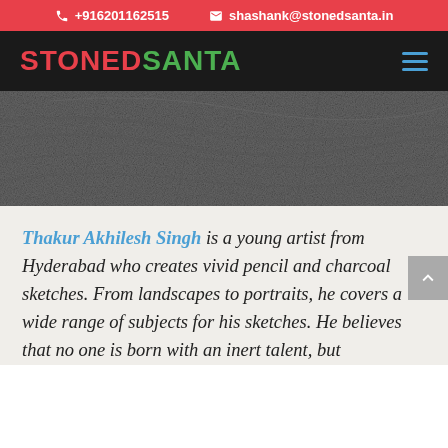+916201162515   shashank@stonedsanta.in
STONED SANTA
[Figure (photo): Close-up black and white textured surface, appears to be stone or rough material, used as a hero banner image]
Thakur Akhilesh Singh is a young artist from Hyderabad who creates vivid pencil and charcoal sketches. From landscapes to portraits, he covers a wide range of subjects for his sketches. He believes that no one is born with an inert talent, but